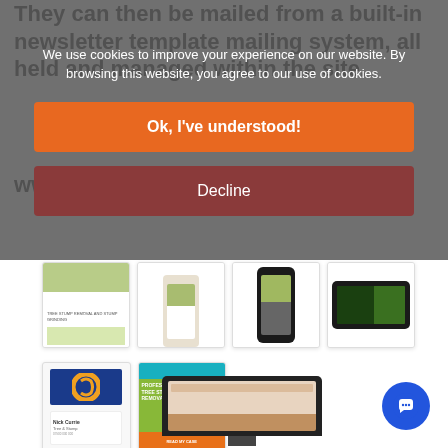They can then be mailed from a built-in newsletter template mailing system, all held and managed within the site.
www.nickcurrie.co.uk
[Figure (screenshot): Four thumbnail screenshots showing website and mobile views of a tree stump removal service website]
[Figure (screenshot): Two thumbnails: a business card with blue background and C logo, and a professional tree stump removal flyer/poster]
[Figure (screenshot): Partial view of a desktop monitor displaying a website]
We use cookies to improve your experience on our website. By browsing this website, you agree to our use of cookies.
Ok, I've understood!
Decline